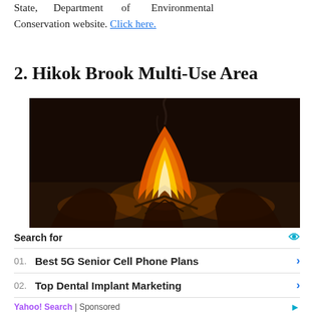State, Department of Environmental Conservation website. Click here.
2. Hikok Brook Multi-Use Area
[Figure (photo): A group of people gathered around a large campfire at night, with bright orange and yellow flames visible in the center. People's hands and bodies are visible in the dark surrounding the fire.]
Search for
01. Best 5G Senior Cell Phone Plans
02. Top Dental Implant Marketing
Yahoo! Search | Sponsored